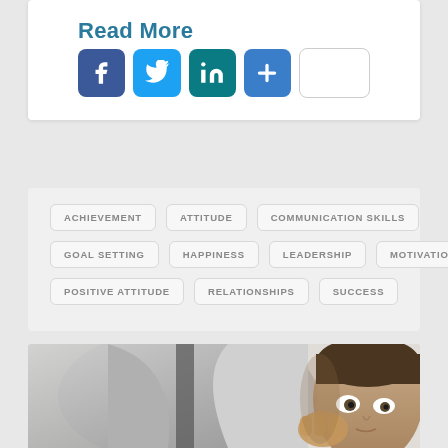Read More
[Figure (infographic): Social sharing icons: Facebook (blue), Twitter (light blue), LinkedIn (teal), plus button (blue), blank white box]
ACHIEVEMENT
ATTITUDE
COMMUNICATION SKILLS
GOAL SETTING
HAPPINESS
LEADERSHIP
MOTIVATION
POSITIVE ATTITUDE
RELATIONSHIPS
SUCCESS
[Figure (photo): A man in a grey suit hiding behind a jacket or lapel, peeking out with a surprised or fearful expression, looking sideways]